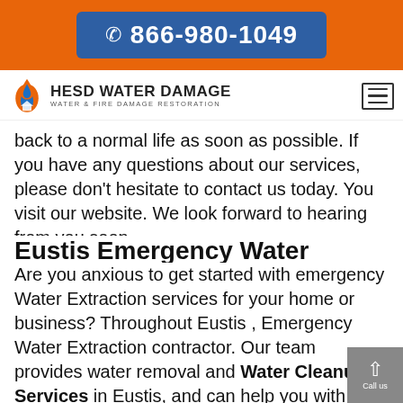☎ 866-980-1049
[Figure (logo): HESD Water Damage logo with flame/water droplet icon and text 'HESD WATER DAMAGE - WATER & FIRE DAMAGE RESTORATION']
back to a normal life as soon as possible. If you have any questions about our services, please don't hesitate to contact us today. You visit our website. We look forward to hearing from you soon.
Eustis Emergency Water Extraction
Are you anxious to get started with emergency Water Extraction services for your home or business? Throughout Eustis , Emergency Water Extraction contractor. Our team provides water removal and Water Cleanup Services in Eustis, and can help you with your emergency water extraction project. Call us today at 866-980-1049 to schedule an appointment for an immediate consultation. You will be glad that